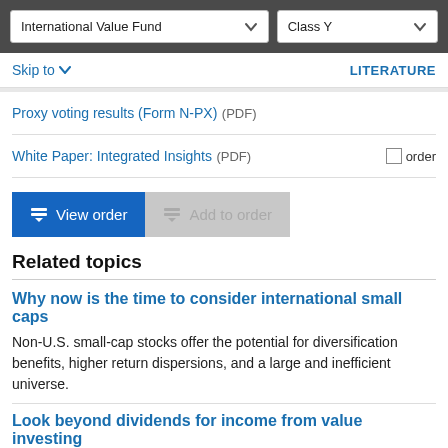International Value Fund | Class Y
Skip to ▾   LITERATURE
Proxy voting results (Form N-PX) (PDF)
White Paper: Integrated Insights (PDF)  ☐ order
View order   Add to order
Related topics
Why now is the time to consider international small caps
Non-U.S. small-cap stocks offer the potential for diversification benefits, higher return dispersions, and a large and inefficient universe.
Look beyond dividends for income from value investing